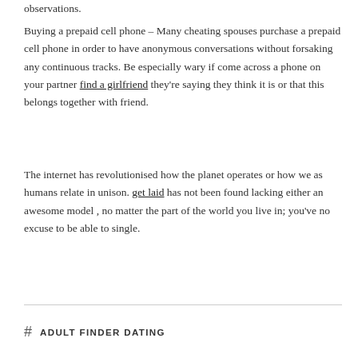observations.
Buying a prepaid cell phone – Many cheating spouses purchase a prepaid cell phone in order to have anonymous conversations without forsaking any continuous tracks. Be especially wary if come across a phone on your partner find a girlfriend they're saying they think it is or that this belongs together with friend.
The internet has revolutionised how the planet operates or how we as humans relate in unison. get laid has not been found lacking either an awesome model , no matter the part of the world you live in; you've no excuse to be able to single.
# ADULT FINDER DATING